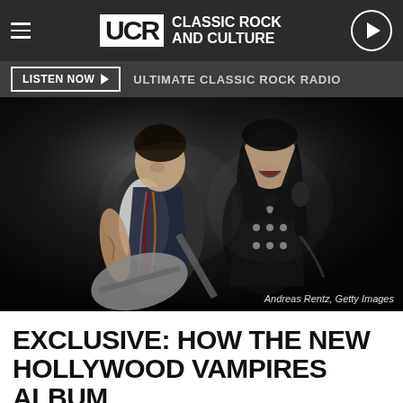UCR Classic Rock and Culture
LISTEN NOW ▶  ULTIMATE CLASSIC ROCK RADIO
[Figure (photo): Two musicians performing on stage. Left figure has tattoos, wearing a white shirt and dark vest with colorful scarves, playing guitar. Right figure wears all black with silver buttons, singing into a microphone. Dark stage background. Credit: Andreas Rentz, Getty Images]
Andreas Rentz, Getty Images
EXCLUSIVE: HOW THE NEW HOLLYWOOD VAMPIRES ALBUM